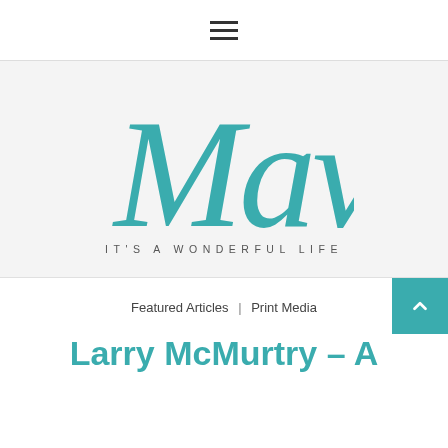☰ (hamburger menu icon)
[Figure (logo): Mav cursive teal logo with tagline IT'S A WONDERFUL LIFE]
Featured Articles | Print Media
Larry McMurtry – A